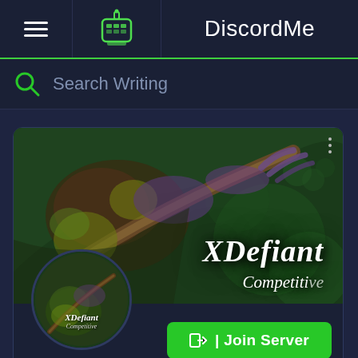DiscordMe
Search Writing
[Figure (screenshot): XDefiant Competitive Discord server card with banner image showing an artistic rendering of a character holding a weapon on a green background, with 'XDefiant Competitive' text and a Join Server button]
Join Server